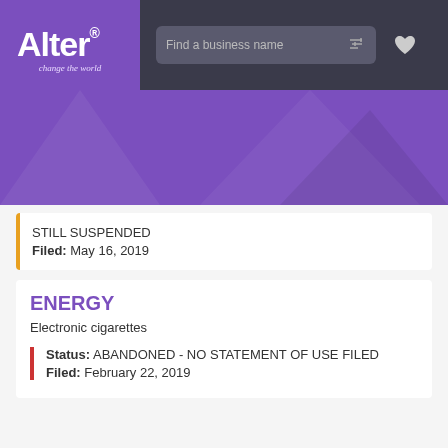[Figure (screenshot): Alter logo with purple background, tagline 'change the world']
Find a business name
Search trademarks (e.g. apple, google, face
STILL SUSPENDED
Filed: May 16, 2019
ENERGY
Electronic cigarettes
Status: ABANDONED - NO STATEMENT OF USE FILED
Filed: February 22, 2019